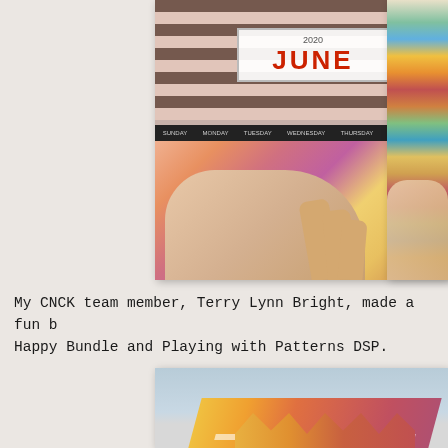[Figure (photo): A hand holding a decorative June 2020 calendar page with floral designs, black and white stripes, and a colorful painted/collage grid pattern on the lower half]
[Figure (photo): Partial view of a colorful paper swatch/sample strip showing multiple colors in horizontal bands, held by a hand]
My CNCK team member, Terry Lynn Bright, made a fun b Happy Bundle and Playing with Patterns DSP.
[Figure (photo): Bottom portion of a colorful paper craft project showing diagonal striped patterns in warm sunset colors (yellow, orange, red) with a white accent]